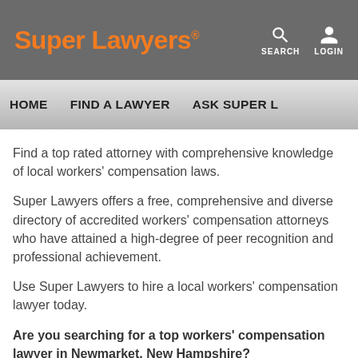Super Lawyers®  SEARCH  LOGIN
HOME   FIND A LAWYER   ASK SUPER L...
Find a top rated attorney with comprehensive knowledge of local workers' compensation laws.
Super Lawyers offers a free, comprehensive and diverse directory of accredited workers' compensation attorneys who have attained a high-degree of peer recognition and professional achievement.
Use Super Lawyers to hire a local workers' compensation lawyer today.
Are you searching for a top workers' compensation lawyer in Newmarket, New Hampshire?